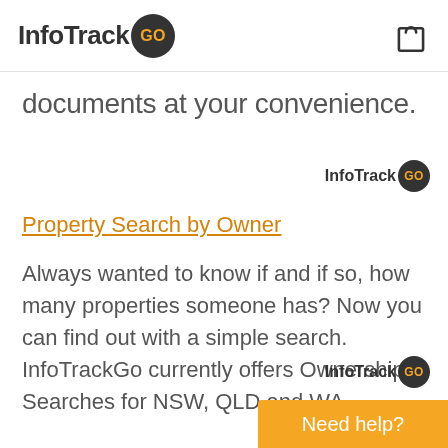InfoTrack GO
documents at your convenience.
[Figure (logo): InfoTrack GO small logo badge]
Property Search by Owner
Always wanted to know if and if so, how many properties someone has? Now you can find out with a simple search. InfoTrackGo currently offers Ownership Searches for NSW, QLD and WA.
[Figure (logo): InfoTrack GO small logo badge]
Need help?